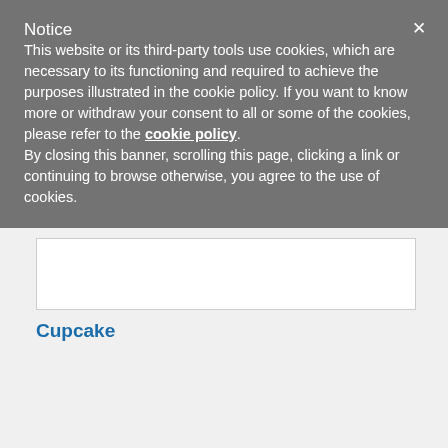Notice
This website or its third-party tools use cookies, which are necessary to its functioning and required to achieve the purposes illustrated in the cookie policy. If you want to know more or withdraw your consent to all or some of the cookies, please refer to the cookie policy. By closing this banner, scrolling this page, clicking a link or continuing to browse otherwise, you agree to the use of cookies.
[Figure (screenshot): White content box area visible behind cookie overlay]
Cupcake